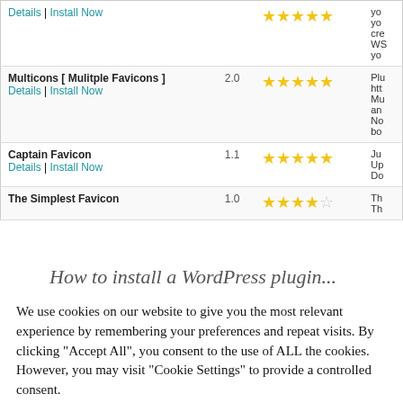| Name | Version | Rating | Description |
| --- | --- | --- | --- |
| Details | Install Now |  | ★★★★★ | yo yo cre WS yo |
| Multicons [ Mulitple Favicons ] | 2.0 | ★★★★★ | Plu http Mu an No bo |
| Captain Favicon | 1.1 | ★★★★★ | Ju Up Do |
| The Simplest Favicon | 1.0 | ★★★★☆ | Th Th |
We use cookies on our website to give you the most relevant experience by remembering your preferences and repeat visits. By clicking "Accept All", you consent to the use of ALL the cookies. However, you may visit "Cookie Settings" to provide a controlled consent.